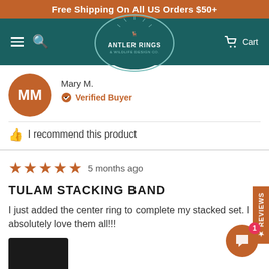Free Shipping On All US Orders $50+
[Figure (logo): Antler Rings & Wildlife Design Co. logo in an oval on a teal navigation bar with hamburger menu, search icon, and Cart]
Mary M.
Verified Buyer
I recommend this product
5 months ago
TULAM STACKING BAND
I just added the center ring to complete my stacked set. I absolutely love them all!!!
[Figure (photo): Small dark thumbnail photo at the bottom left]